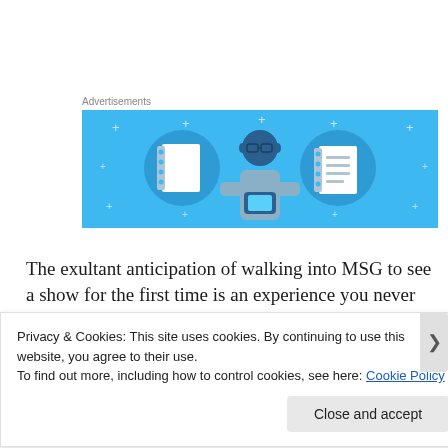Advertisements
[Figure (illustration): Blue banner advertisement showing a cartoon person holding a phone, flanked by icons of a notebook and a list/document on circular backgrounds with decorative plus signs scattered around.]
The exultant anticipation of walking into MSG to see a show for the first time is an experience you never forget. Getting from the street to your seat literally takes a lot of time and
Privacy & Cookies: This site uses cookies. By continuing to use this website, you agree to their use.
To find out more, including how to control cookies, see here: Cookie Policy
Close and accept